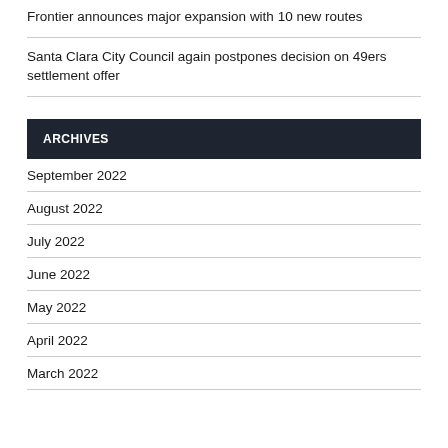Frontier announces major expansion with 10 new routes
Santa Clara City Council again postpones decision on 49ers settlement offer
ARCHIVES
September 2022
August 2022
July 2022
June 2022
May 2022
April 2022
March 2022